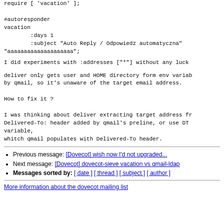require [ 'vacation' ];

#autoresponder
vacation
        :days 1
        :subject "Auto Reply / Odpowiedz automatyczna"
"aaaaaaaaaaaaaaaaaaaa";
I did experiments with :addresses ["*"] without any luck
deliver only gets user and HOME directory form env variables set by qmail, so it's unaware of the target email address.

How to fix it ?

I was thinking about deliver extracting target address from Delivered-To: header added by qmail's preline, or use DTLINE variable,
whitch qmail populates with Delivered-To header.
Previous message: [Dovecot] wish now I'd not upgraded...
Next message: [Dovecot] dovecot-sieve vacation vs qmail-ldap
Messages sorted by: [ date ] [ thread ] [ subject ] [ author ]
More information about the dovecot mailing list